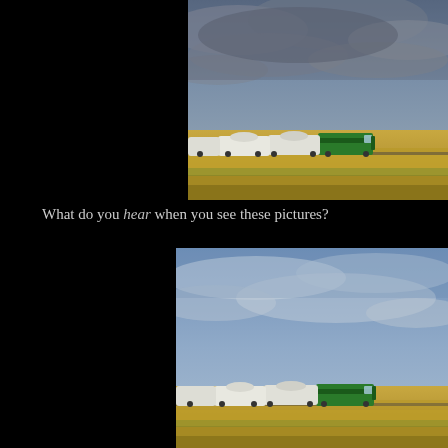[Figure (photo): A green freight train locomotive pulling white tanker cars across flat golden prairie grassland under a dramatic cloudy sky, viewed from the side. Top-right photo.]
What do you hear when you see these pictures?
[Figure (photo): A green freight train locomotive pulling white tanker cars across flat golden prairie grassland under a light blue cloudy sky, viewed from the side at a slightly different angle. Bottom-right photo.]